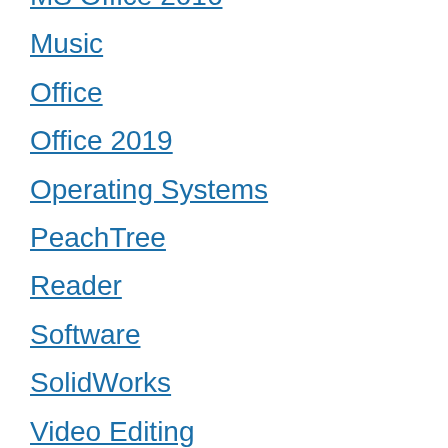MS Office 2016
Music
Office
Office 2019
Operating Systems
PeachTree
Reader
Software
SolidWorks
Video Editing
VPN
Windows
Windows 10
Windows 2000